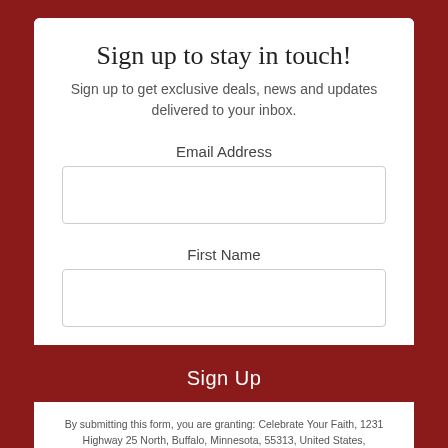Sign up to stay in touch!
Sign up to get exclusive deals, news and updates delivered to your inbox.
Email Address
First Name
Sign Up
By submitting this form, you are granting: Celebrate Your Faith, 1231 Highway 25 North, Buffalo, Minnesota, 55313, United States, http://www.celebrateyourfaith.com & http://celebratefaith.com permission to email you. You may unsubscribe via the link found at the bottom of every